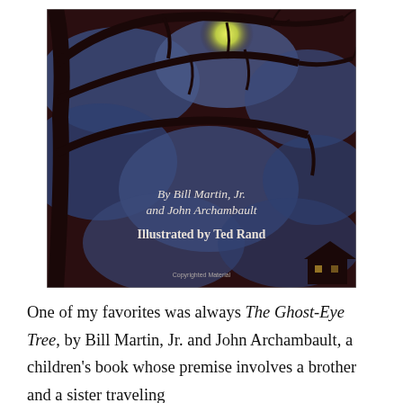[Figure (illustration): Book cover of 'The Ghost-Eye Tree' showing a dark, atmospheric night scene with a gnarled tree silhouette against a moonlit sky in deep blues and browns. Text on cover reads 'By Bill Martin, Jr. and John Archambault' and 'Illustrated by Ted Rand'. A small 'Copyrighted Material' watermark appears at the bottom center.]
One of my favorites was always The Ghost-Eye Tree, by Bill Martin, Jr. and John Archambault, a children's book whose premise involves a brother and a sister traveling